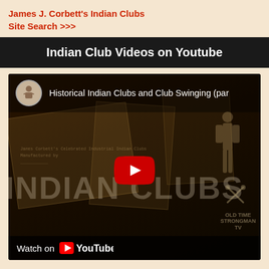James J. Corbett's Indian Clubs
Site Search >>>
Indian Club Videos on Youtube
[Figure (screenshot): YouTube video thumbnail for 'Historical Indian Clubs and Club Swinging (par...' showing dark sepia-toned historical photos with 'INDIAN CLUBS' text overlay, a red YouTube play button in the center, a circular channel avatar with a shirtless man in the top-left corner, and a 'Watch on YouTube' bar at the bottom.]